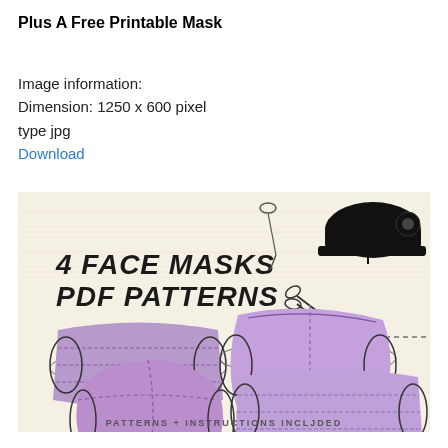Plus A Free Printable Mask
Image information:
Dimension: 1250 x 600 pixel
type jpg
Download
[Figure (illustration): Illustration of 4 face masks PDF patterns showing 4 purple/lavender face masks (pleated, fitted, N95-style) with sewing machine, scissors, needle and thread, and pencil icons. Text reads '4 FACE MASKS PDF PATTERNS' and 'PATTERNS + INSTRUCTIONS INCLUDED' at the bottom.]